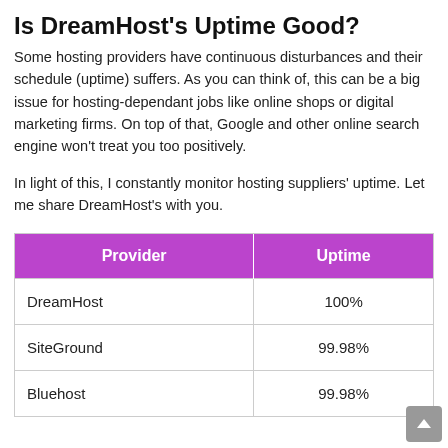Is DreamHost's Uptime Good?
Some hosting providers have continuous disturbances and their schedule (uptime) suffers. As you can think of, this can be a big issue for hosting-dependant jobs like online shops or digital marketing firms. On top of that, Google and other online search engine won't treat you too positively.
In light of this, I constantly monitor hosting suppliers' uptime. Let me share DreamHost's with you.
| Provider | Uptime |
| --- | --- |
| DreamHost | 100% |
| SiteGround | 99.98% |
| Bluehost | 99.98% |